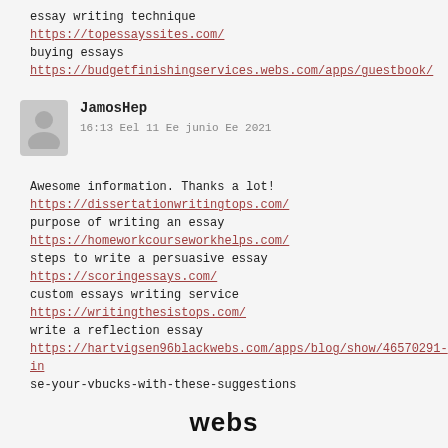essay writing technique
https://topessayssites.com/
buying essays
https://budgetfinishingservices.webs.com/apps/guestbook/
JamosHep
16:13 Eel 11 Ee junio Ee 2021
Awesome information. Thanks a lot!
https://dissertationwritingtops.com/
purpose of writing an essay
https://homeworkcourseworkhelps.com/
steps to write a persuasive essay
https://scoringessays.com/
custom essays writing service
https://writingthesistops.com/
write a reflection essay
https://hartvigsen96blackwebs.com/apps/blog/show/46570291-in
se-your-vbucks-with-these-suggestions
webs